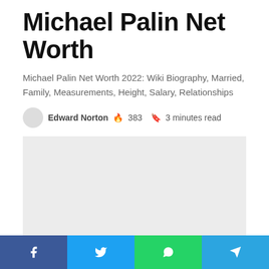Michael Palin Net Worth
Michael Palin Net Worth 2022: Wiki Biography, Married, Family, Measurements, Height, Salary, Relationships
Edward Norton 🔥 383  📖 3 minutes read
[Figure (other): Gray placeholder advertisement or image block]
Facebook share | Twitter share | WhatsApp share | Telegram share